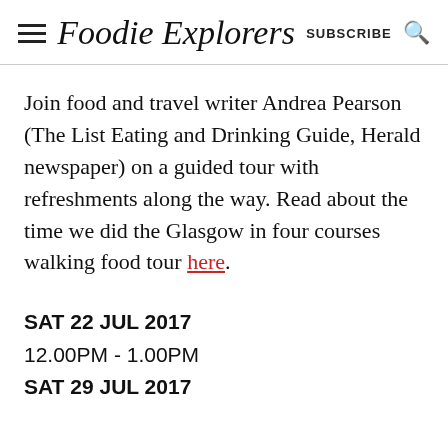Foodie Explorers SUBSCRIBE
Join food and travel writer Andrea Pearson (The List Eating and Drinking Guide, Herald newspaper) on a guided tour with refreshments along the way. Read about the time we did the Glasgow in four courses walking food tour here.
SAT 22 JUL 2017
12.00PM - 1.00PM
SAT 29 JUL 2017